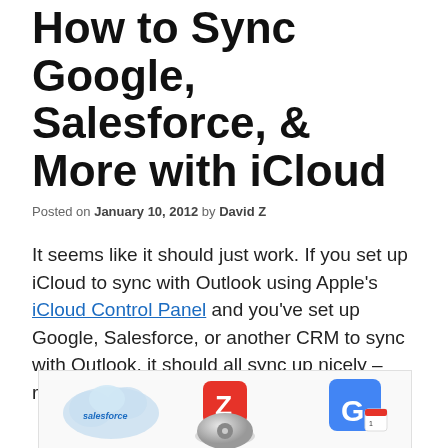How to Sync Google, Salesforce, & More with iCloud
Posted on January 10, 2012 by David Z
It seems like it should just work. If you set up iCloud to sync with Outlook using Apple's iCloud Control Panel and you've set up Google, Salesforce, or another CRM to sync with Outlook, it should all sync up nicely – right?
[Figure (illustration): Composite image showing Salesforce cloud logo, Zapier Z icon, an Apple iCloud/iTunes-style silver disc, and Google Calendar icon arranged together]